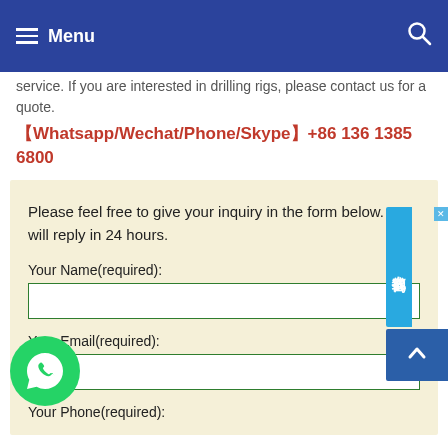Menu
service. If you are interested in drilling rigs, please contact us for a quote.
【Whatsapp/Wechat/Phone/Skype】+86 136 1385 6800
Please feel free to give your inquiry in the form below. We will reply in 24 hours.
Your Name(required):
Your Email(required):
Your Phone(required):
[Figure (other): WhatsApp logo green circle with phone icon]
[Figure (other): Chinese online chat widget with close button and scroll-to-top button]